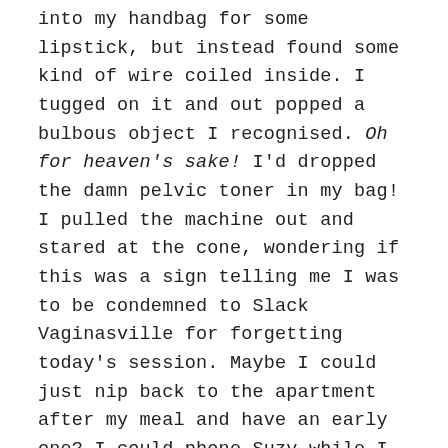into my handbag for some lipstick, but instead found some kind of wire coiled inside. I tugged on it and out popped a bulbous object I recognised. Oh for heaven's sake! I'd dropped the damn pelvic toner in my bag! I pulled the machine out and stared at the cone, wondering if this was a sign telling me I was to be condemned to Slack Vaginasville for forgetting today's session. Maybe I could just nip back to the apartment after my meal and have an early one? I could phone Suzy while I was squeezing. Urgh, noooo. Wrong, wrong, wrong! Anyway, could I hold a vaginal cone in for twelve minutes without a toilet break after a half carafe of wine? Deciding against it, I shoved it back into my bag, which I threw over my shoulder.